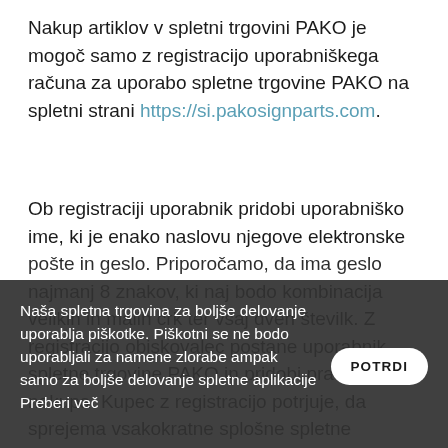Nakup artiklov v spletni trgovini PAKO je mogoč samo z registracijo uporabniškega računa za uporabo spletne trgovine PAKO na spletni strani https://si.pakosignparts.com.
Ob registraciji uporabnik pridobi uporabniško ime, ki je enako naslovu njegove elektronske pošte in geslo. Priporočamo, da ima geslo najmanj 8 znakov, ki naj bodo kombinacija velikih in malih črk ter vsaj dveh številk. Z registracijo obiskovalec postane uporabnik spletne trgovine PAKO in pridobi pravico do nakupa. Kupec z registracijo potrjuje, da sprejema vsakokratne splošne spletne pogodbe v trenutku oddajanja naročila za teh strani. Z registracijo in ob izvedbi vsakega nakupa registrirani uporabnik družbi Pako d.o.o. tudi
Naša spletna trgovina za boljše delovanje uporablja piškotke. Piškotni se ne bodo uporabljali za namene zlorabe ampak samo za boljše delovanje spletne aplikacije Preberi več